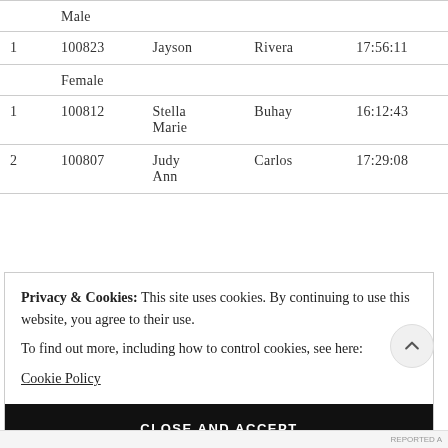| Rank | ID | First Name | Last Name | Time |
| --- | --- | --- | --- | --- |
| Male |  |  |  |  |
| 1 | 100823 | Jayson | Rivera | 17:56:11 |
| Female |  |  |  |  |
| 1 | 100812 | Stella Marie | Buhay | 16:12:43 |
| 2 | 100807 | Judy Ann | Carlos | 17:29:08 |
Privacy & Cookies: This site uses cookies. By continuing to use this website, you agree to their use.
To find out more, including how to control cookies, see here: Cookie Policy
CLOSE AND ACCEPT